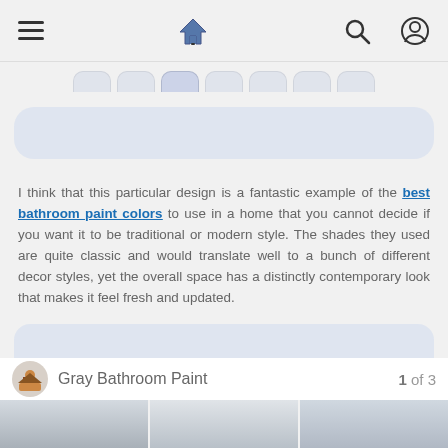Navigation bar with hamburger menu, home icon, search icon, user icon
I think that this particular design is a fantastic example of the best bathroom paint colors to use in a home that you cannot decide if you want it to be traditional or modern style. The shades they used are quite classic and would translate well to a bunch of different decor styles, yet the overall space has a distinctly contemporary look that makes it feel fresh and updated.
Gray Bathroom Paint  1 of 3
[Figure (photo): Bottom image strip showing gray bathroom photos]